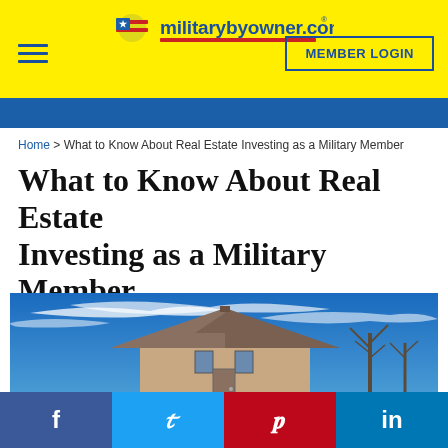militarybyowner.com
MEMBER LOGIN
Home > What to Know About Real Estate Investing as a Military Member
What to Know About Real Estate Investing as a Military Member
[Figure (photo): Exterior photo of a residential house with a dramatic blue sky with wispy white clouds and bare trees in background]
[Figure (infographic): Social media sharing bar with Facebook, Twitter, Pinterest, and LinkedIn buttons]